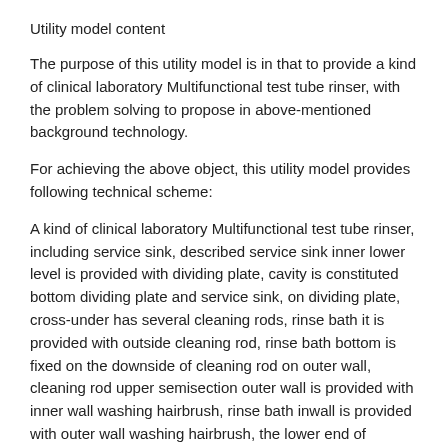Utility model content
The purpose of this utility model is in that to provide a kind of clinical laboratory Multifunctional test tube rinser, with the problem solving to propose in above-mentioned background technology.
For achieving the above object, this utility model provides following technical scheme:
A kind of clinical laboratory Multifunctional test tube rinser, including service sink, described service sink inner lower level is provided with dividing plate, cavity is constituted bottom dividing plate and service sink, on dividing plate, cross-under has several cleaning rods, rinse bath it is provided with outside cleaning rod, rinse bath bottom is fixed on the downside of cleaning rod on outer wall, cleaning rod upper semisection outer wall is provided with inner wall washing hairbrush, rinse bath inwall is provided with outer wall washing hairbrush, the lower end of cleaning rod is connected with the belt wheel being arranged on cavity inside, drive motor is connected with several belt wheels by belt, outside service sink, two ends, left and right are fitted with lifter, the elevating lever of lifter